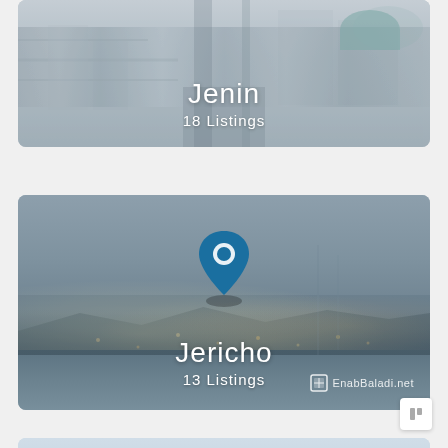[Figure (photo): City card for Jenin with muted aerial cityscape background showing buildings, street, and a green dome. White text overlaid.]
Jenin
18 Listings
[Figure (photo): City card for Jericho with dark night cityscape background showing city lights and hills. A blue map location pin icon is centered. White text overlaid with Enab Baladi logo watermark.]
Jericho
13 Listings
[Figure (photo): Partial bottom card with light blue-gray background, partially visible.]